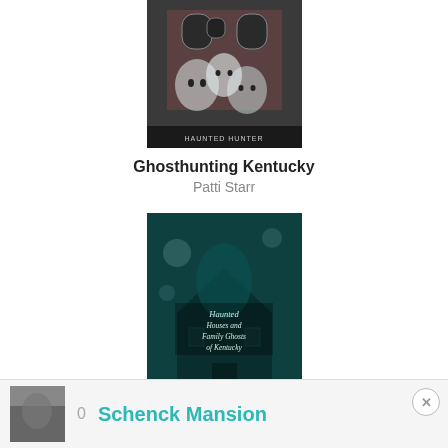[Figure (photo): Book cover of 'Ghosthunting Kentucky' showing ghost-like faces of children in front of a brick building]
Ghosthunting Kentucky
Patti Starr
[Figure (photo): Book cover of 'Haunted Houses and Family Ghosts of Kentucky' showing a dark teal shadowy haunted house with ghostly figures]
Haunted Houses and Family Ghosts of Kentucky
William Lynwood Montell
[Figure (photo): Partial thumbnail image at bottom left, appears to be a grayscale photo]
0
Schenck Mansion